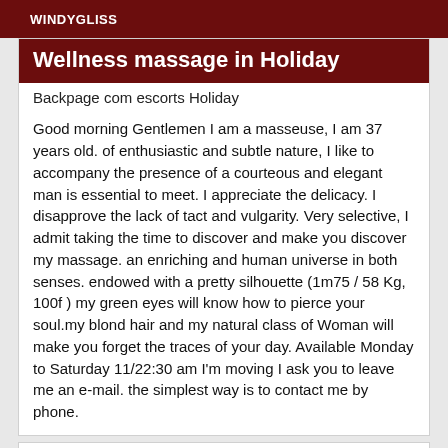WINDYGLISS
Wellness massage in Holiday
Backpage com escorts Holiday
Good morning Gentlemen I am a masseuse, I am 37 years old. of enthusiastic and subtle nature, I like to accompany the presence of a courteous and elegant man is essential to meet. I appreciate the delicacy. I disapprove the lack of tact and vulgarity. Very selective, I admit taking the time to discover and make you discover my massage. an enriching and human universe in both senses. endowed with a pretty silhouette (1m75 / 58 Kg, 100f ) my green eyes will know how to pierce your soul.my blond hair and my natural class of Woman will make you forget the traces of your day. Available Monday to Saturday 11/22:30 am I'm moving I ask you to leave me an e-mail. the simplest way is to contact me by phone.